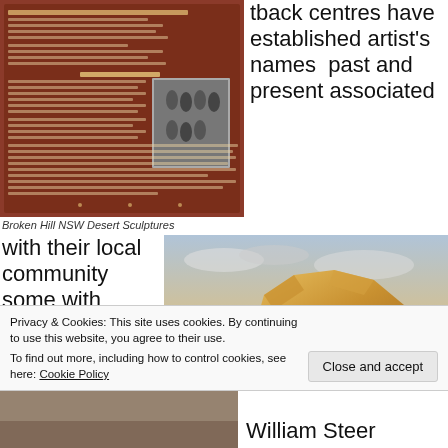[Figure (photo): Interpretive sign board about The Camp with black and white photo of people, Broken Hill NSW Desert Sculptures]
tback centres have established artist's names past and present associated
Broken Hill NSW Desert Sculptures
with their local community some with international reputations
[Figure (photo): Large golden-coloured rock sculpture against a sunset sky with trees in background]
Privacy & Cookies: This site uses cookies. By continuing to use this website, you agree to their use. To find out more, including how to control cookies, see here: Cookie Policy
Close and accept
[Figure (photo): Partial bottom strip image]
William Steer